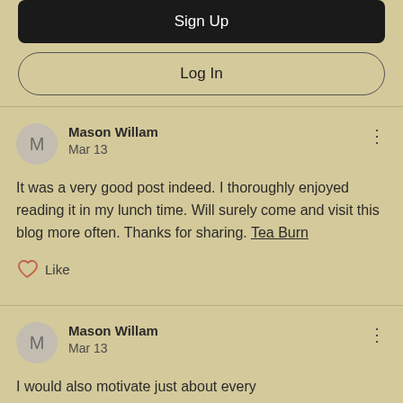Sign Up
Log In
Mason Willam
Mar 13

It was a very good post indeed. I thoroughly enjoyed reading it in my lunch time. Will surely come and visit this blog more often. Thanks for sharing. Tea Burn
Like
Mason Willam
Mar 13

I would also motivate just about every